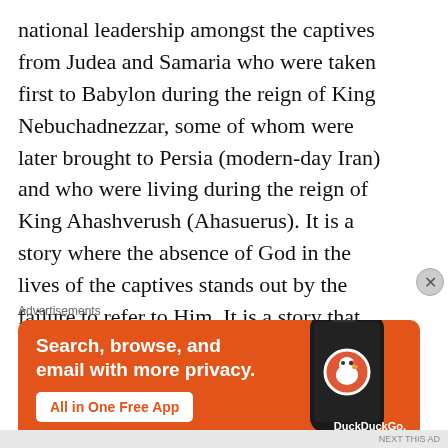national leadership amongst the captives from Judea and Samaria who were taken first to Babylon during the reign of King Nebuchadnezzar, some of whom were later brought to Persia (modern-day Iran) and who were living during the reign of King Ahashverush (Ahasuerus). It is a story where the absence of God in the lives of the captives stands out by the failure to refer to Him. It is a story that serves as the background for the complaint of the people, as revealed in the explanation of the vision of the dry bones in Ezekiel, namely, an absence of
Advertisements
[Figure (other): DuckDuckGo advertisement banner on orange background showing a smartphone with the DuckDuckGo logo. Text reads: Search, browse, and email with more privacy. All in One Free App. DuckDuckGo.]